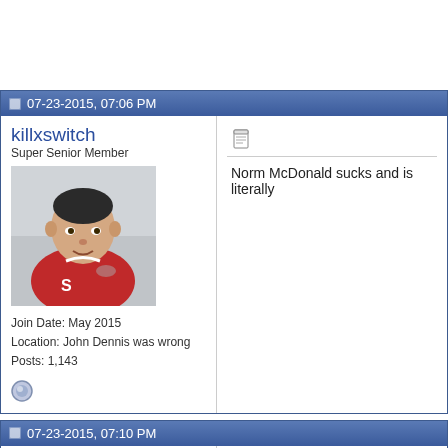07-23-2015, 07:06 PM
killxswitch
Super Senior Member
Join Date: May 2015
Location: John Dennis was wrong
Posts: 1,143
Norm McDonald sucks and is literally
07-23-2015, 07:10 PM
JoeJoeBrown
Super Senior Member
Join Date: May 2015
Posts: 8,168
Quote:
Originally Posted by killxswitch